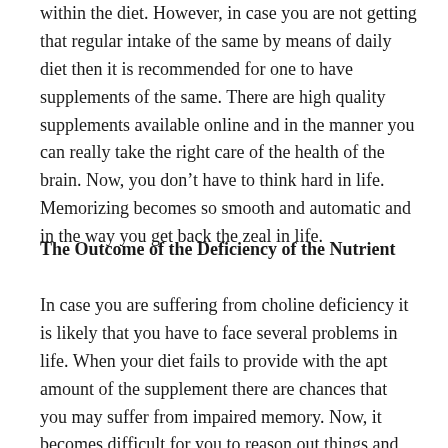within the diet. However, in case you are not getting that regular intake of the same by means of daily diet then it is recommended for one to have supplements of the same. There are high quality supplements available online and in the manner you can really take the right care of the health of the brain. Now, you don't have to think hard in life. Memorizing becomes so smooth and automatic and in the way you get back the zeal in life.
The Outcome of the Deficiency of the Nutrient
In case you are suffering from choline deficiency it is likely that you have to face several problems in life. When your diet fails to provide with the apt amount of the supplement there are chances that you may suffer from impaired memory. Now, it becomes difficult for you to reason out things and you cannot even think logically. It becomes extremely difficult for you to have focus on things. The deficiency of the same can even spoil your mood and